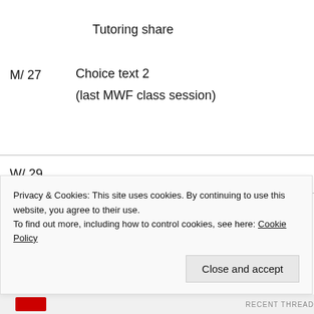Tutoring share
M/ 27
Choice text 2
(last MWF class session)
W/ 29
F/ 1
Privacy & Cookies: This site uses cookies. By continuing to use this website, you agree to their use.
To find out more, including how to control cookies, see here: Cookie Policy
Close and accept